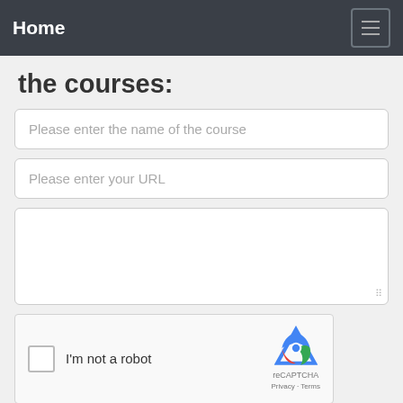Home
the courses:
Please enter the name of the course
Please enter your URL
(textarea - empty)
[Figure (other): reCAPTCHA widget with checkbox labeled I'm not a robot and reCAPTCHA logo with Privacy - Terms links]
Submit Reset